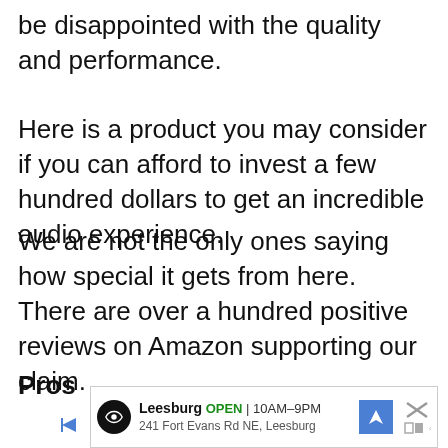be disappointed with the quality and performance.
Here is a product you may consider if you can afford to invest a few hundred dollars to get an incredible audio experience.
We are not the only ones saying how special it gets from here. There are over a hundred positive reviews on Amazon supporting our claim.
Pros
[Figure (other): Advertisement banner for Leesburg store showing location icon, store name, OPEN status, hours 10AM-9PM, address 241 Fort Evans Rd NE Leesburg, navigation arrow icon, and close/more options icons]